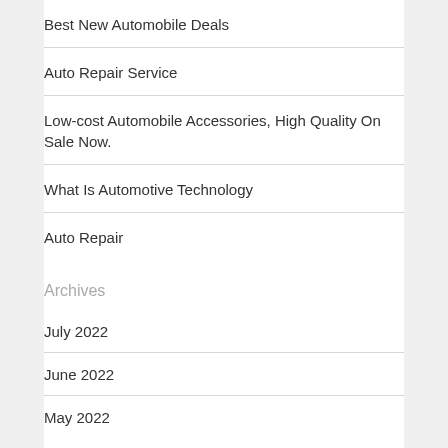Best New Automobile Deals
Auto Repair Service
Low-cost Automobile Accessories, High Quality On Sale Now.
What Is Automotive Technology
Auto Repair
Archives
July 2022
June 2022
May 2022